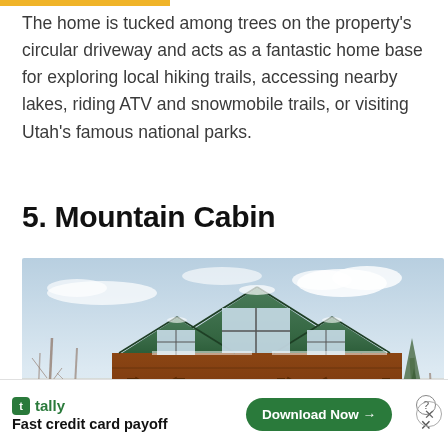The home is tucked among trees on the property's circular driveway and acts as a fantastic home base for exploring local hiking trails, accessing nearby lakes, riding ATV and snowmobile trails, or visiting Utah's famous national parks.
5. Mountain Cabin
[Figure (photo): Large log cabin style mountain home with green metal roof, multiple gabled dormers, wooden beams, surrounded by bare trees and snow, photographed from below against a partly cloudy winter sky.]
[Figure (infographic): Advertisement banner for Tally app: 'Fast credit card payoff' with a green Download Now button, help and close icons.]